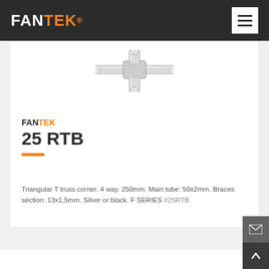FANTEK
[Figure (photo): Triangular T truss corner connector product photo showing a silver metal 4-way truss junction piece]
FANTEK 25 RTB
Triangular T truss corner. 4 way. 250mm. Main tube: 50x2mm. Braces section: 13x1,5mm. Silver or black. F SERIES #25RTB